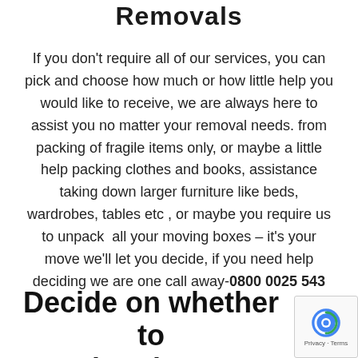Removals
If you don't require all of our services, you can pick and choose how much or how little help you would like to receive, we are always here to assist you no matter your removal needs. from packing of fragile items only, or maybe a little help packing clothes and books, assistance taking down larger furniture like beds, wardrobes, tables etc , or maybe you require us to unpack all your moving boxes – it's your move we'll let you decide, if you need help deciding we are one call away-0800 0025 543
Decide on whether to pack or let MnM